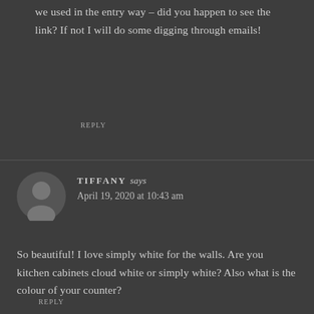we used in the entry way – did you happen to see the link? If not I will do some digging through emails!
REPLY
TIFFANY says
April 19, 2020 at 10:43 am
So beautiful! I love simply white for the walls. Are you kitchen cabinets cloud white or simply white? Also what is the colour of your counter?
REPLY